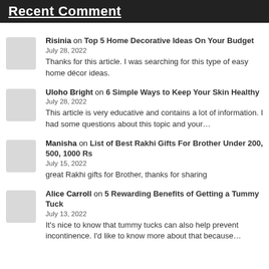Recent Comment
Risinia on Top 5 Home Decorative Ideas On Your Budget
July 28, 2022
Thanks for this article. I was searching for this type of easy home décor ideas.
Uloho Bright on 6 Simple Ways to Keep Your Skin Healthy
July 28, 2022
This article is very educative and contains a lot of information. I had some questions about this topic and your…
Manisha on List of Best Rakhi Gifts For Brother Under 200, 500, 1000 Rs
July 15, 2022
great Rakhi gifts for Brother, thanks for sharing
Alice Carroll on 5 Rewarding Benefits of Getting a Tummy Tuck
July 13, 2022
It's nice to know that tummy tucks can also help prevent incontinence. I'd like to know more about that because…